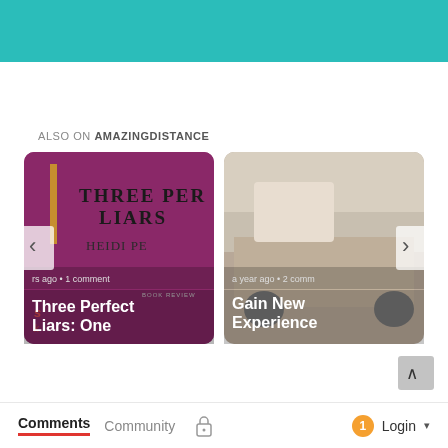[Figure (screenshot): Teal/turquoise banner at top of webpage]
ALSO ON AMAZINGDISTANCE
[Figure (screenshot): Two article cards side by side. Left card shows book cover 'THREE PERFECT LIARS' by HEIDI PE, with text overlay 'yrs ago • 1 comment' and title 'Three Perfect Liars: One Deadly Secret ...'. Right card shows a van/camper image with text 'a year ago • 2 comm' and title 'Gain New Experience Through ...'. Navigation arrows on left and right sides of the cards.]
[Figure (screenshot): Scroll-to-top arrow button]
Comments  Community  🔒  1  Login ▾